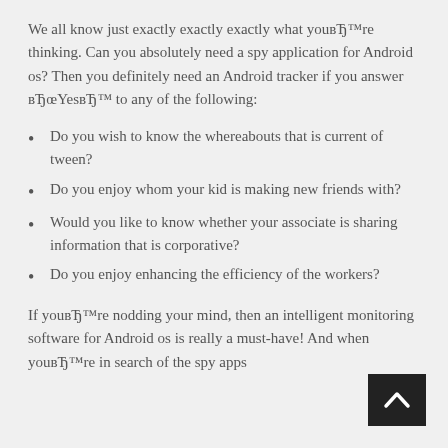We all know just exactly exactly exactly what youвЂ™re thinking. Can you absolutely need a spy application for Android os? Then you definitely need an Android tracker if you answer вЂœYesвЂ™ to any of the following:
Do you wish to know the whereabouts that is current of tween?
Do you enjoy whom your kid is making new friends with?
Would you like to know whether your associate is sharing information that is corporative?
Do you enjoy enhancing the efficiency of the workers?
If youвЂ™re nodding your mind, then an intelligent monitoring software for Android os is really a must-have! And when youвЂ™re in search of the spy apps